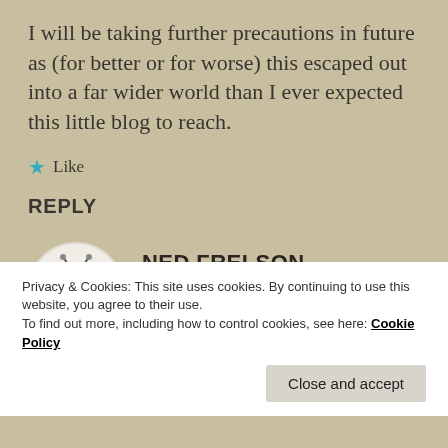I will be taking further precautions in future as (for better or for worse) this escaped out into a far wider world than I ever expected this little blog to reach.
★ Like
REPLY
[Figure (illustration): Green robot/alien cartoon avatar in a circular frame]
NED FRELSON
May 11, 2015 at 3:59 PM
Privacy & Cookies: This site uses cookies. By continuing to use this website, you agree to their use.
To find out more, including how to control cookies, see here: Cookie Policy
Close and accept